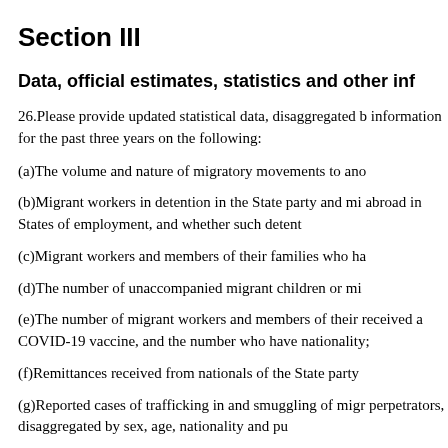Section III
Data, official estimates, statistics and other inf
26.Please provide updated statistical data, disaggregated b information for the past three years on the following:
(a)The volume and nature of migratory movements to ano
(b)Migrant workers in detention in the State party and mi abroad in States of employment, and whether such detent
(c)Migrant workers and members of their families who ha
(d)The number of unaccompanied migrant children or mi
(e)The number of migrant workers and members of their received a COVID-19 vaccine, and the number who have nationality;
(f)Remittances received from nationals of the State party
(g)Reported cases of trafficking in and smuggling of migr perpetrators, disaggregated by sex, age, nationality and pu